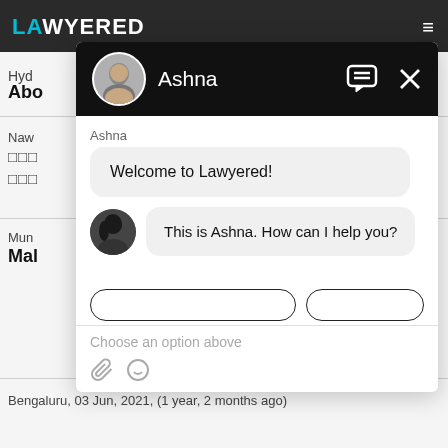[Figure (screenshot): Lawyered website screenshot with a chat widget open. The chat header shows a profile photo and the name 'Ashna' on a black background with a chat icon and X button. The chat body shows two messages: 'Welcome to Lawyered!' and 'This is Ashna. How can I help you?'. Below is an input area with placeholder text 'Choose an option above' and attachment/emoji icons. Behind the chat overlay, partial website text is visible including 'Hyd', 'Abo', 'Naw', 'Mun', 'Mal', and a footer reading 'Bengaluru, 03 Jun, 2021, (1 year, 2 months ago)'.]
Bengaluru,  03 Jun, 2021,  (1 year, 2 months ago)